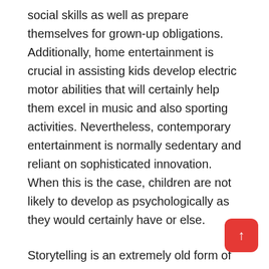social skills as well as prepare themselves for grown-up obligations. Additionally, home entertainment is crucial in assisting kids develop electric motor abilities that will certainly help them excel in music and also sporting activities. Nevertheless, contemporary entertainment is normally sedentary and reliant on sophisticated innovation. When this is the case, children are not likely to develop as psychologically as they would certainly have or else.
Storytelling is an extremely old form of entertainment that has motivated mostly all types of art. Storytelling not just amuses, however is also an effective methods of analyzing human problem. The created word is frequently improved with illustrations to enhance influence. Stories are common means of entertaining group throughout a trip. As well as, as a type of